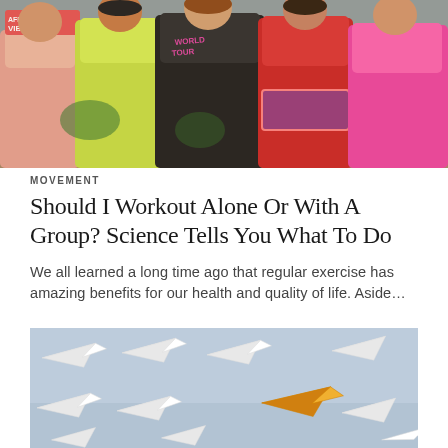[Figure (photo): Group of people dancing energetically in colorful workout clothes, including a woman in a black 'World Tour' tank top, at what appears to be a Zumba fitness event]
MOVEMENT
Should I Workout Alone Or With A Group? Science Tells You What To Do
We all learned a long time ago that regular exercise has amazing benefits for our health and quality of life. Aside…
[Figure (photo): Multiple white paper airplanes arranged in rows on a light blue background, with one orange/yellow paper airplane standing out among them, symbolizing individuality or leadership]